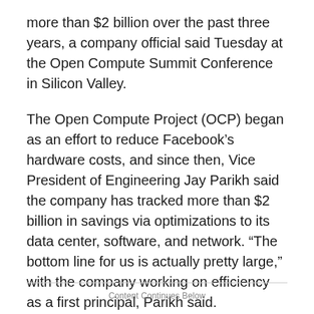more than $2 billion over the past three years, a company official said Tuesday at the Open Compute Summit Conference in Silicon Valley.
The Open Compute Project (OCP) began as an effort to reduce Facebook's hardware costs, and since then, Vice President of Engineering Jay Parikh said the company has tracked more than $2 billion in savings via optimizations to its data center, software, and network. “The bottom line for us is actually pretty large,” with the company working on efficiency as a first principal, Parikh said.
Content Continues Below